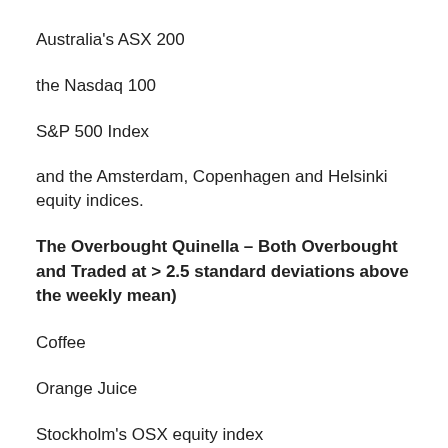Australia's ASX 200
the Nasdaq 100
S&P 500 Index
and the Amsterdam, Copenhagen and Helsinki equity indices.
The Overbought Quinella – Both Overbought and Traded at > 2.5 standard deviations above the weekly mean)
Coffee
Orange Juice
Stockholm's OSX equity index